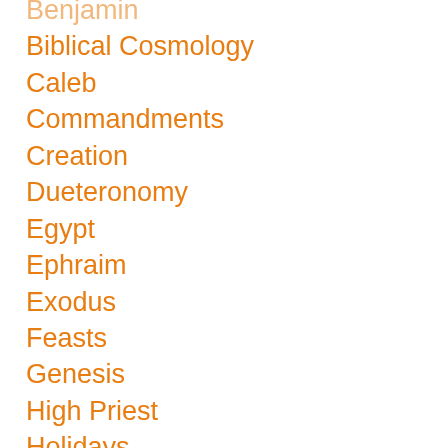Benjamin
Biblical Cosmology
Caleb
Commandments
Creation
Dueteronomy
Egypt
Ephraim
Exodus
Feasts
Genesis
High Priest
Holidays
hybrids
Isaac
Israel
Jacob
Joseph
Joshua
Judah